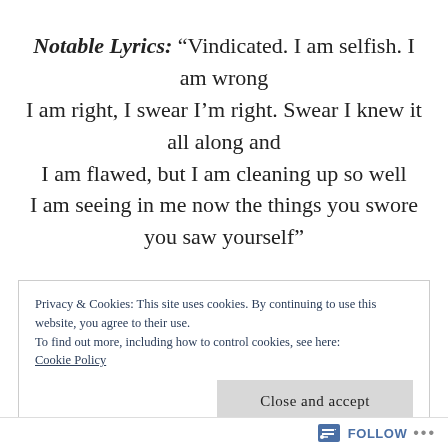Notable Lyrics: “Vindicated. I am selfish. I am wrong I am right, I swear I’m right. Swear I knew it all along and I am flawed, but I am cleaning up so well I am seeing in me now the things you swore you saw yourself”
Privacy & Cookies: This site uses cookies. By continuing to use this website, you agree to their use. To find out more, including how to control cookies, see here: Cookie Policy
Follow ...